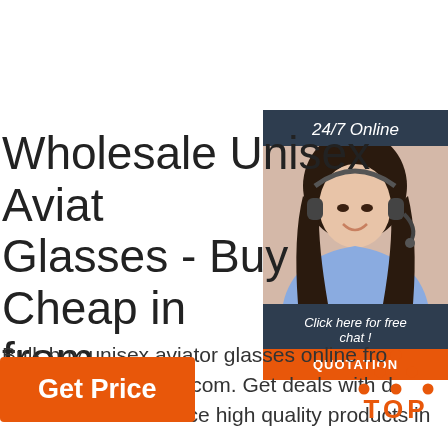[Figure (infographic): Customer service widget with dark background panel showing '24/7 Online' header, a photo of a woman with a headset smiling, 'Click here for free chat!' text, and an orange QUOTATION button]
Wholesale Unisex Aviat Glasses - Buy Cheap in from ...
Bulk buy unisex aviator glasses online fro suppliers on dhgate.com. Get deals with d discount code! Source high quality products in ...
Get Price
[Figure (logo): TOP logo with orange dots arranged in a triangle above the word TOP in orange bold letters]